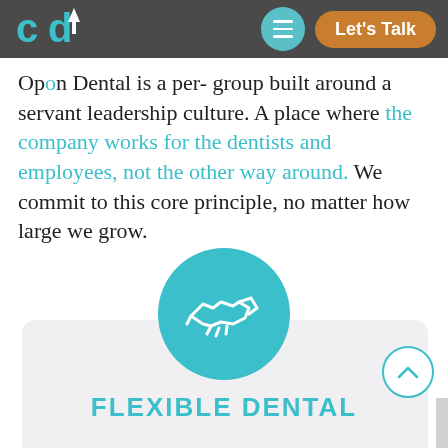Operation Dental - navigation header with logo, hamburger menu, and Let's Talk button
Option Dental is a pe[...]- group built around a servant leadership culture. A place where the company works for the dentists and employees, not the other way around. We commit to this core principle, no matter how large we grow.
[Figure (illustration): Teal circular icon with two hands shaking (handshake icon) in white outline on teal background]
FLEXIBLE DENTAL